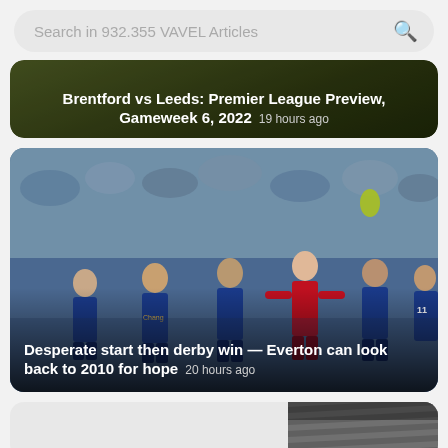Search in 932.355 VAVEL Articles
Brentford vs Leeds: Premier League Preview, Gameweek 6, 2022 19 hours ago
[Figure (photo): Soccer players in blue Everton kits celebrating, with one player in red kit. Crowd in background. Goodison Park match, 2010.]
Desperate start then derby win — Everton can look back to 2010 for hope 20 hours ago
[Figure (photo): Partial view of a third article card below, showing a stadium or sports venue image on the right side.]